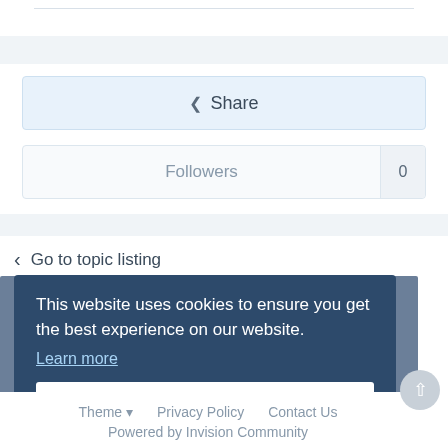[Figure (screenshot): Share button — light blue rounded box with share icon and text 'Share']
Followers 0
Go to topic listing
Recent Browsing
No registered users viewing this page.
This website uses cookies to ensure you get the best experience on our website.
Learn more
Got it!
Theme ▾   Privacy Policy   Contact Us
Powered by Invision Community